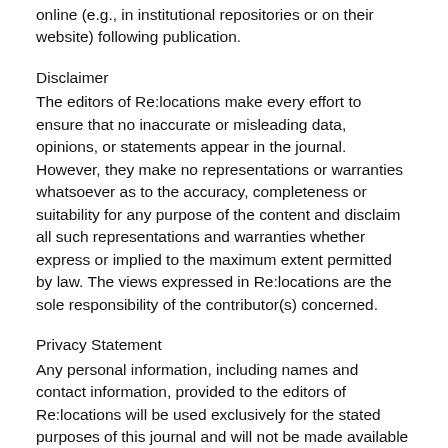online (e.g., in institutional repositories or on their website) following publication.
Disclaimer
The editors of Re:locations make every effort to ensure that no inaccurate or misleading data, opinions, or statements appear in the journal. However, they make no representations or warranties whatsoever as to the accuracy, completeness or suitability for any purpose of the content and disclaim all such representations and warranties whether express or implied to the maximum extent permitted by law. The views expressed in Re:locations are the sole responsibility of the contributor(s) concerned.
Privacy Statement
Any personal information, including names and contact information, provided to the editors of Re:locations will be used exclusively for the stated purposes of this journal and will not be made available for any other purpose or to any other party. In addition, contributors remain anonymous during the double-blind